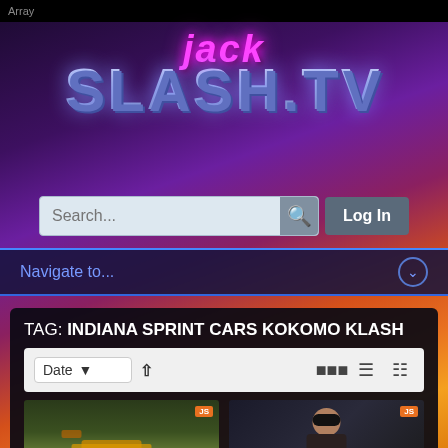Array
[Figure (screenshot): JackSlash.TV website logo with retro neon styling on a purple/space background]
Search...
Log In
Navigate to...
TAG: INDIANA SPRINT CARS KOKOMO KLASH
Date
[Figure (photo): Thumbnail of sprint car race on dirt track at Kokomo]
Archives: Kokomo Kl...
[Figure (photo): Thumbnail of racing driver interview at night]
Kokomo Klash Sprin...